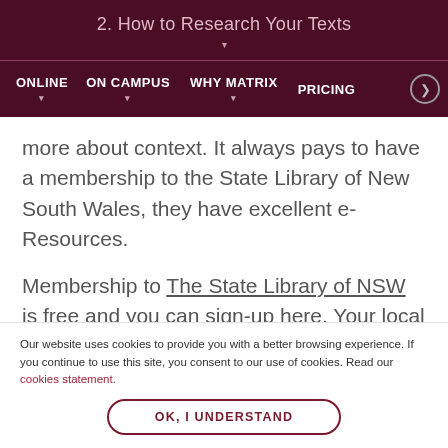2. How to Research Your Texts
ONLINE  ON CAMPUS  WHY MATRIX  PRICING
more about context. It always pays to have a membership to the State Library of New South Wales, they have excellent e-Resources.
Membership to The State Library of NSW is free and you can sign-up here. Your local library will be a good resource, too. When trying to find sources in a
Our website uses cookies to provide you with a better browsing experience. If you continue to use this site, you consent to our use of cookies. Read our cookies statement.
OK, I UNDERSTAND